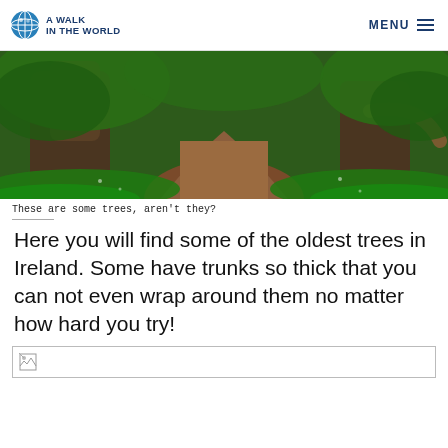A WALK IN THE WORLD | MENU
[Figure (photo): A lush green forest scene with large ancient trees, thick exposed roots, and a dirt path leading through. Ferns and green ground cover surround the massive tree trunks. A curved branch extends to the right.]
These are some trees, aren't they?
Here you will find some of the oldest trees in Ireland. Some have trunks so thick that you can not even wrap around them no matter how hard you try!
[Figure (photo): A placeholder broken image icon at the bottom of the page.]